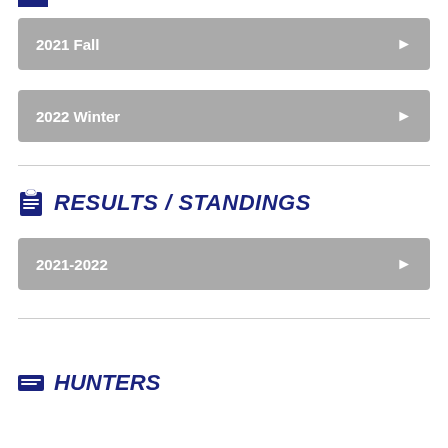2021 Fall
2022 Winter
RESULTS / STANDINGS
2021-2022
HUNTERS